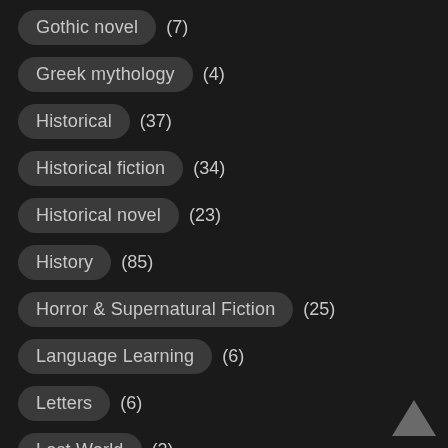Gothic novel (7)
Greek mythology (4)
Historical (37)
Historical fiction (34)
Historical novel (23)
History (85)
Horror & Supernatural Fiction (25)
Language Learning (6)
Letters (6)
Lost World (2)
Medieval (3)